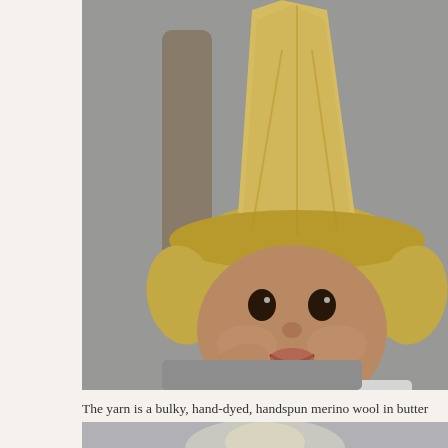[Figure (photo): A smiling baby wearing a large chunky knit hat in butter yellow with ear flaps, sitting in a chair with a grey cushion in the background.]
The yarn is a bulky, hand-dyed, handspun merino wool in butter yellow.  it to me with a few other yarns from her stash as a baby gift before Cash w
[Figure (photo): Partial view of another photo showing what appears to be a baby with a knit hat, cropped at the bottom of the page.]